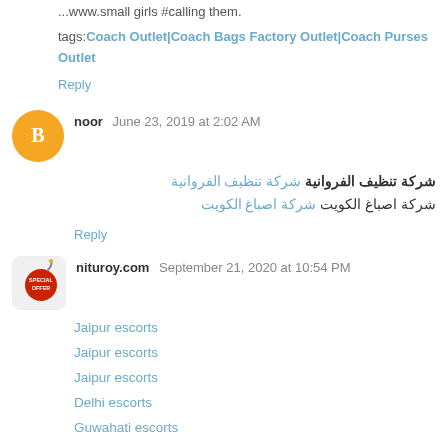...www.small girls #calling them.
tags: Coach Outlet|Coach Bags Factory Outlet|Coach Purses Outlet
Reply
noor  June 23, 2019 at 2:02 AM
شركة تنظيف الفروانية شركة تنظيف الفروانية
شركة اصباغ الكويت شركة اصباغ الكويت
Reply
nituroy.com  September 21, 2020 at 10:54 PM
Jaipur escorts
Jaipur escorts
Jaipur escorts
Delhi escorts
Guwahati escorts
Guwahati escorts